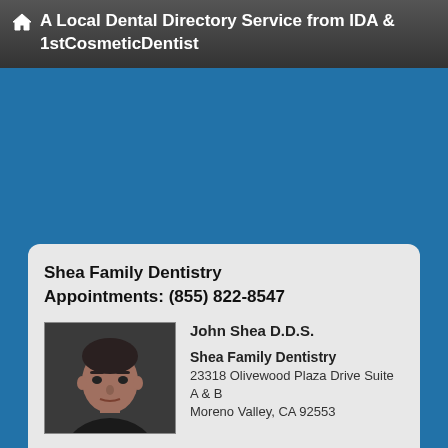A Local Dental Directory Service from IDA & 1stCosmeticDentist
Shea Family Dentistry
Appointments: (855) 822-8547
[Figure (photo): Headshot photo of a man in dark clothing against dark background]
John Shea D.D.S.
Shea Family Dentistry
23318 Olivewood Plaza Drive Suite A & B
Moreno Valley, CA 92553